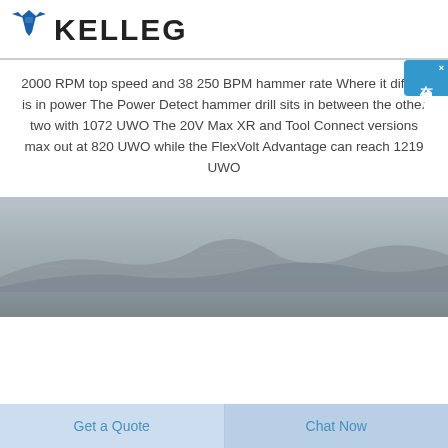KELLEG
2000 RPM top speed and 38 250 BPM hammer rate Where it differs is in power The Power Detect hammer drill sits in between the other two with 1072 UWO The 20V Max XR and Tool Connect versions max out at 820 UWO while the FlexVolt Advantage can reach 1219 UWO
[Figure (photo): Outdoor landscape photo with hazy grey sky and mountainous or rocky terrain in the background, muted grey tones throughout]
Get a Quote
Chat Now